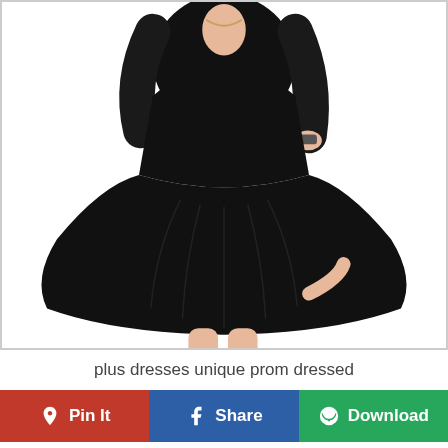[Figure (photo): Woman wearing a black 3/4 sleeve fit-and-flare dress that falls to knee length, standing on white background. She is wearing red strappy heels with black toe caps.]
plus dresses unique prom dressed
Pin It
Share
Download